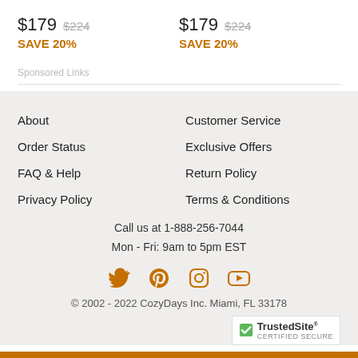$179  $224  SAVE 20%  (left column)
$179  $224  SAVE 20%  (right column)
Sponsored Links
About
Customer Service
Order Status
Exclusive Offers
FAQ & Help
Return Policy
Privacy Policy
Terms & Conditions
Call us at 1-888-256-7044
Mon - Fri: 9am to 5pm EST
[Figure (infographic): Social media icons: Twitter, Pinterest, Instagram, YouTube in orange]
© 2002 - 2022 CozyDays Inc. Miami, FL 33178
[Figure (logo): TrustedSite Certified Secure badge]